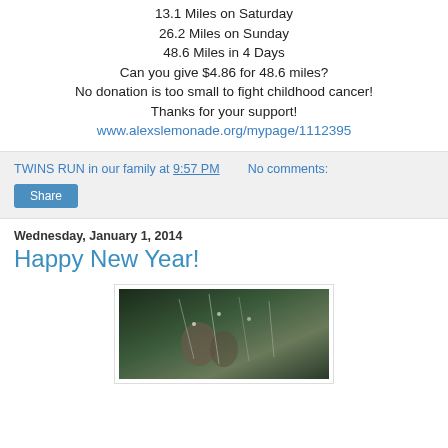13.1 Miles on Saturday
26.2 Miles on Sunday
48.6 Miles in 4 Days
Can you give $4.86 for 48.6 miles?
No donation is too small to fight childhood cancer!
Thanks for your support!
www.alexslemonade.org/mypage/1112395
TWINS RUN in our family at 9:57 PM   No comments:
Share
Wednesday, January 1, 2014
Happy New Year!
[Figure (photo): Photo partially visible at bottom of page, appears to show a decorative or holiday scene with reflective elements]